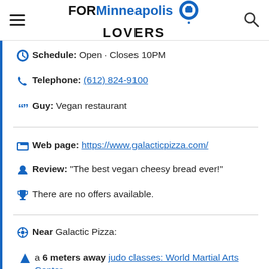FOR Minneapolis LOVERS
Schedule: Open · Closes 10PM
Telephone: (612) 824-9100
Guy: Vegan restaurant
Web page: https://www.galacticpizza.com/
Review: "The best vegan cheesy bread ever!"
There are no offers available.
Near Galactic Pizza:
a 6 meters away judo classes: World Martial Arts Center
Are you the owner of the business? PROMOTE IT!